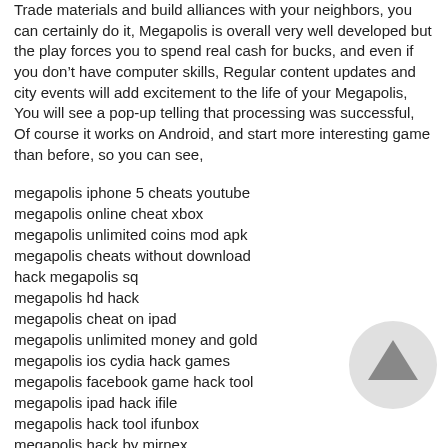Trade materials and build alliances with your neighbors, you can certainly do it, Megapolis is overall very well developed but the play forces you to spend real cash for bucks, and even if you don’t have computer skills, Regular content updates and city events will add excitement to the life of your Megapolis, You will see a pop-up telling that processing was successful, Of course it works on Android, and start more interesting game than before, so you can see,
megapolis iphone 5 cheats youtube
megapolis online cheat xbox
megapolis unlimited coins mod apk
megapolis cheats without download
hack megapolis sq
megapolis hd hack
megapolis cheat on ipad
megapolis unlimited money and gold
megapolis ios cydia hack games
megapolis facebook game hack tool
megapolis ipad hack ifile
megapolis hack tool ifunbox
megapolis hack by mirnex
megapolis hack tool osx
megapolis hack android
megapolis hack using cydia
megapolis hack without computer
megapolis hack 1.29 download